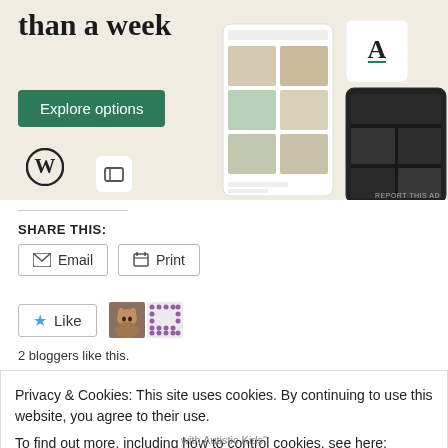[Figure (screenshot): WordPress.com advertisement banner with beige background, showing text 'than a week', a green 'Explore options' button, WordPress logo, and app mockup screenshots on the right side]
REPORT THIS AD
SHARE THIS:
Email
Print
[Figure (other): Like button with star icon and two blogger avatar thumbnails]
2 bloggers like this.
Privacy & Cookies: This site uses cookies. By continuing to use this website, you agree to their use.
To find out more, including how to control cookies, see here: Cookie Policy
Close and accept
with Autistic Kids"